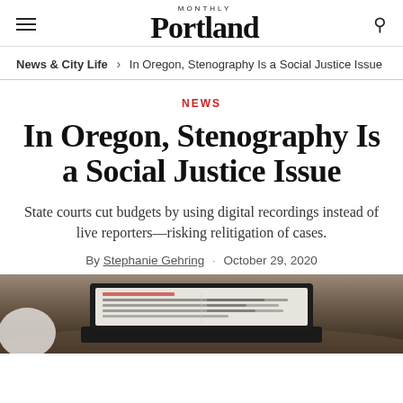Portland Monthly
News & City Life > In Oregon, Stenography Is a Social Justice Issue
NEWS
In Oregon, Stenography Is a Social Justice Issue
State courts cut budgets by using digital recordings instead of live reporters—risking relitigation of cases.
By Stephanie Gehring · October 29, 2020
[Figure (photo): A laptop computer sitting on a wooden desk, showing a document on screen, photographed from a low angle in warm ambient light.]